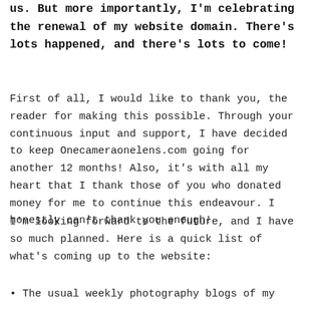us. But more importantly, I'm celebrating the renewal of my website domain. There's lots happened, and there's lots to come!
First of all, I would like to thank you, the reader for making this possible. Through your continuous input and support, I have decided to keep Onecameraonelens.com going for another 12 months! Also, it's with all my heart that I thank those of you who donated money for me to continue this endeavour. I honestly can't thank you enough!
I'm looking forward to the future, and I have so much planned. Here is a quick list of what's coming up to the website:
• The usual weekly photography blogs of my ...